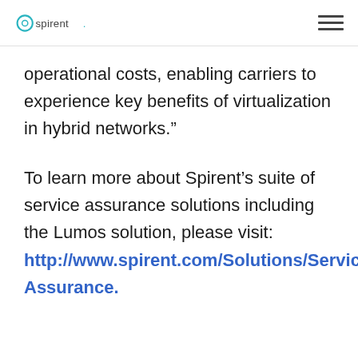Spirent
operational costs, enabling carriers to experience key benefits of virtualization in hybrid networks.”
To learn more about Spirent’s suite of service assurance solutions including the Lumos solution, please visit: http://www.spirent.com/Solutions/Service-Assurance.